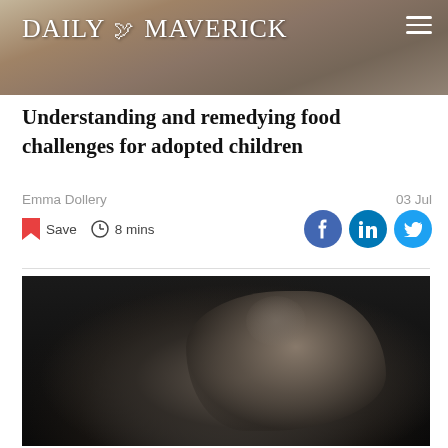DAILY MAVERICK
[Figure (photo): Banner photo showing hands holding food, used as header background]
Understanding and remedying food challenges for adopted children
Emma Dollery
03 Jul
Save  8 mins
[Figure (photo): Black and white close-up photo of a baby's foot/hand reaching out against a dark background]